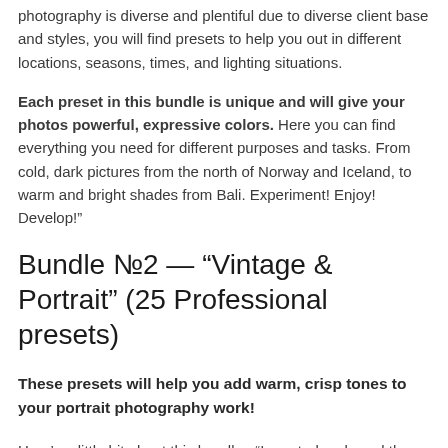photography is diverse and plentiful due to diverse client base and styles, you will find presets to help you out in different locations, seasons, times, and lighting situations.
Each preset in this bundle is unique and will give your photos powerful, expressive colors. Here you can find everything you need for different purposes and tasks. From cold, dark pictures from the north of Norway and Iceland, to warm and bright shades from Bali. Experiment! Enjoy! Develop!"
Bundle №2 — “Vintage & Portrait” (25 Professional presets)
These presets will help you add warm, crisp tones to your portrait photography work!
Here’s a little bit about this bundle, “I created and used these filters all the last six months, when I switched from Travel and